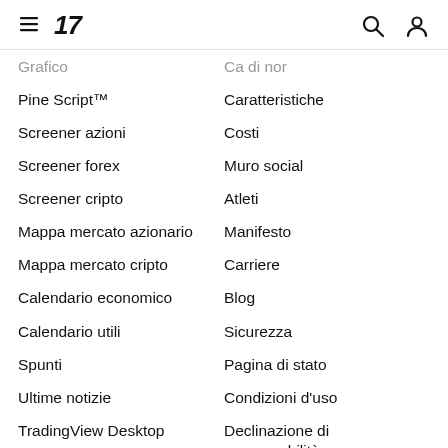TradingView navigation menu
Grafico
Ca di nor
Pine Script™
Caratteristiche
Screener azioni
Costi
Screener forex
Muro social
Screener cripto
Atleti
Mappa mercato azionario
Manifesto
Mappa mercato cripto
Carriere
Calendario economico
Blog
Calendario utili
Sicurezza
Spunti
Pagina di stato
Ultime notizie
Condizioni d'uso
TradingView Desktop
Declinazione di responsabilità